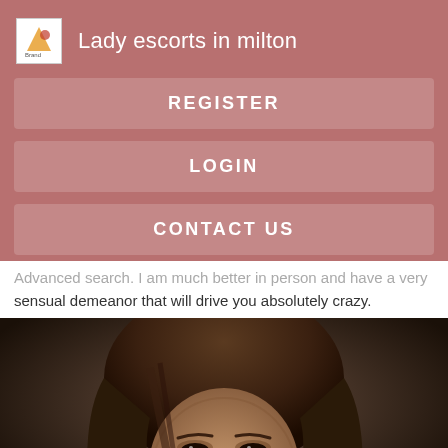Lady escorts in milton
REGISTER
LOGIN
CONTACT US
Advanced search. I am much better in person and have a very sensual demeanor that will drive you absolutely crazy.
[Figure (photo): Close-up photo of a woman's face with dark hair against a dark background]